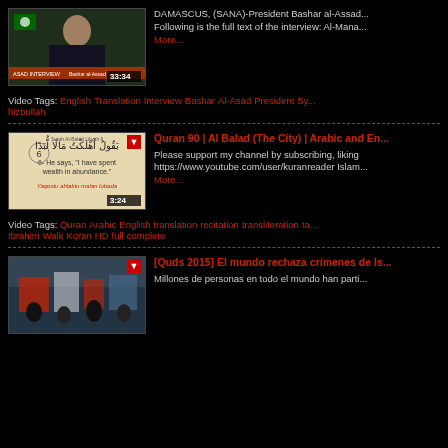[Figure (screenshot): Video thumbnail of Bashar al-Assad interview, duration 33:34]
DAMASCUS, (SANA)-President Bashar al-Assad... Following is the full text of the interview: Al-Mana... More...
Video Tags: English Translation Interview Bashar Al-Asad President Sy... hizbullah
[Figure (screenshot): Video thumbnail of Quran 90 Al Balad recitation, duration 3:24]
Quran 90 | Al Balad (The City) | Arabic and En...
Please support my channel by subscribing, liking https://www.youtube.com/user/kuranreader Islam... More...
Video Tags: Quran Arabic English translation recitation transliteration ta... Ibrahim Walk Koran HD full complete
[Figure (screenshot): Video thumbnail of Quds 2015 El mundo rechaza crimenes]
[Quds 2015] El mundo rechaza crímenes de Is...
Millones de personas en todo el mundo han parti...